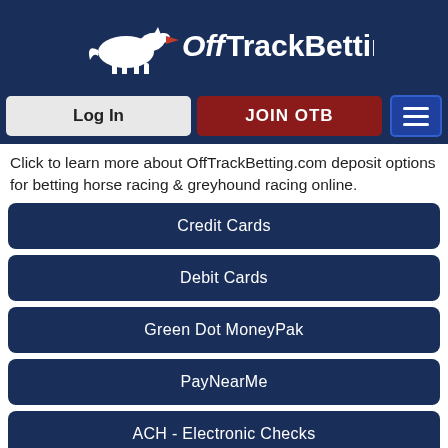[Figure (logo): OffTrackBetting logo with horse and text in dark blue header bar]
[Figure (screenshot): Navigation bar with Log In, JOIN OTB buttons and hamburger menu]
Click to learn more about OffTrackBetting.com deposit options for betting horse racing & greyhound racing online.
Credit Cards
Debit Cards
Green Dot MoneyPak
PayNearMe
ACH - Electronic Checks
Bank Wire Transfer
Horse Betting News